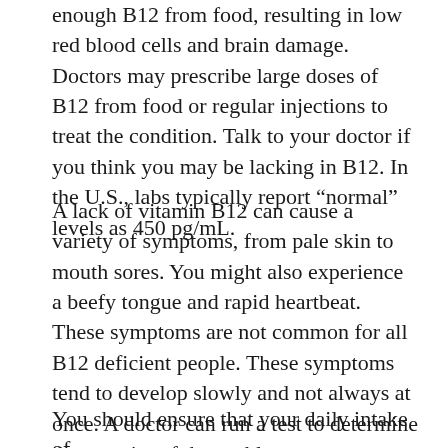enough B12 from food, resulting in low red blood cells and brain damage. Doctors may prescribe large doses of B12 from food or regular injections to treat the condition. Talk to your doctor if you think you may be lacking in B12. In the U.S., labs typically report “normal” levels as 450 pg/mL.
A lack of vitamin B12 can cause a variety of symptoms, from pale skin to mouth sores. You might also experience a beefy tongue and rapid heartbeat. These symptoms are not common for all B12 deficient people. These symptoms tend to develop slowly and not always at once. A doctor can run a test to determine the severity of the problem.
You should ensure that your daily intake of